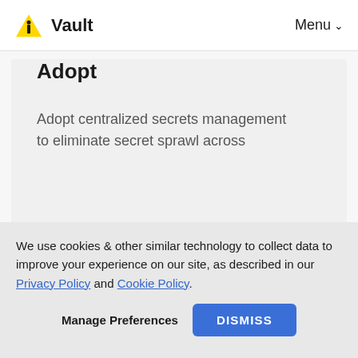Vault  Menu
Adopt
Adopt centralized secrets management to eliminate secret sprawl across
We use cookies & other similar technology to collect data to improve your experience on our site, as described in our Privacy Policy and Cookie Policy.
Manage Preferences  DISMISS